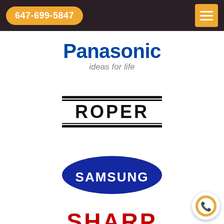647-699-5847
[Figure (logo): Panasonic logo with 'ideas for life' tagline]
[Figure (logo): Roper logo in black bold text with horizontal bars above and below]
[Figure (logo): Samsung logo on blue oval ellipse]
[Figure (logo): Sharp logo in red bold text, partially visible at bottom]